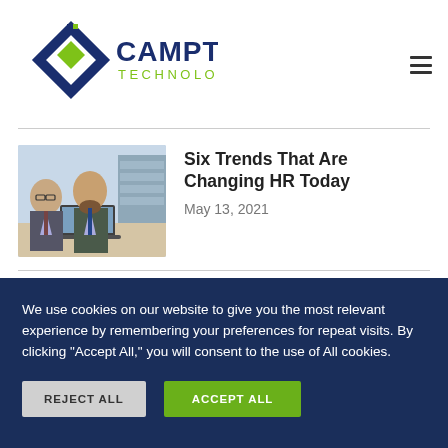[Figure (logo): Camptra Technologies logo — blue diamond shape with green accent and company name in dark blue and green text]
Six Trends That Are Changing HR Today
May 13, 2021
[Figure (photo): Two businessmen in suits sitting at a table looking at a laptop computer in an office setting]
We use cookies on our website to give you the most relevant experience by remembering your preferences for repeat visits. By clicking “Accept All,” you will consent to the use of All cookies.